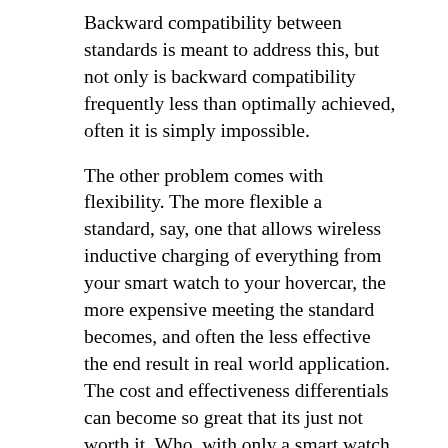Backward compatibility between standards is meant to address this, but not only is backward compatibility frequently less than optimally achieved, often it is simply impossible.
The other problem comes with flexibility. The more flexible a standard, say, one that allows wireless inductive charging of everything from your smart watch to your hovercar, the more expensive meeting the standard becomes, and often the less effective the end result in real world application. The cost and effectiveness differentials can become so great that its just not worth it. Who, with only a smart watch, drill/driver, and hoverboard, really wants to spend the money on a charger that must also be able to charge up the family van in 30 minutes? Badly written standards, the world is chockful of them, some known as bad while they were being written, some revealed as dreck in use,